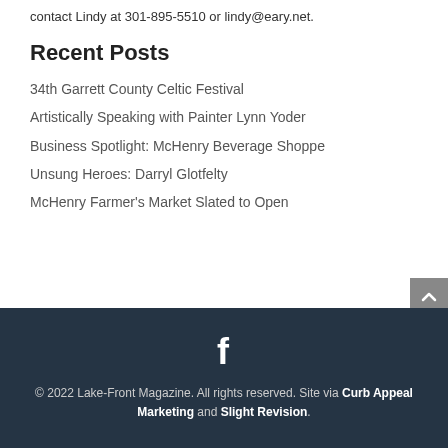contact Lindy at 301-895-5510 or lindy@eary.net.
Recent Posts
34th Garrett County Celtic Festival
Artistically Speaking with Painter Lynn Yoder
Business Spotlight: McHenry Beverage Shoppe
Unsung Heroes: Darryl Glotfelty
McHenry Farmer's Market Slated to Open
© 2022 Lake-Front Magazine. All rights reserved. Site via Curb Appeal Marketing and Slight Revision.